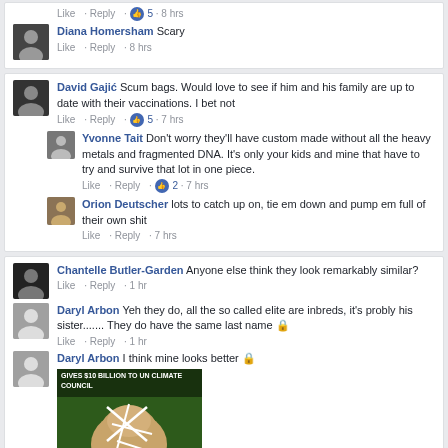Like · Reply · 5 · 8 hrs
Diana Homersham Scary
Like · Reply · 8 hrs
David Gajić Scum bags. Would love to see if him and his family are up to date with their vaccinations. I bet not
Like · Reply · 5 · 7 hrs
Yvonne Tait Don't worry they'll have custom made without all the heavy metals and fragmented DNA. It's only your kids and mine that have to try and survive that lot in one piece.
Like · Reply · 2 · 7 hrs
Orion Deutscher lots to catch up on, tie em down and pump em full of their own shit
Like · Reply · 7 hrs
Chantelle Butler-Garden Anyone else think they look remarkably similar?
Like · Reply · 1 hr
Daryl Arbon Yeh they do, all the so called elite are inbreds, it's probly his sister....... They do have the same last name 🔒
Like · Reply · 1 hr
Daryl Arbon I think mine looks better 🔒
[Figure (photo): Meme image with text 'GIVES $10 BILLION TO UN CLIMATE COUNCIL' over a face with drawn-on marks]